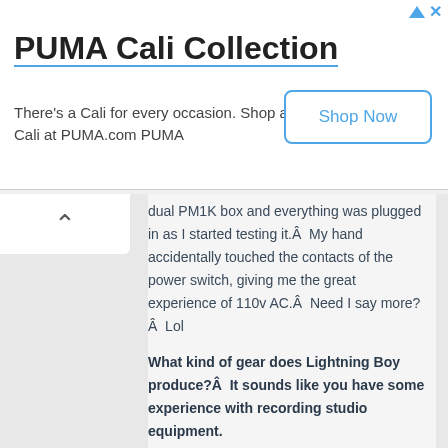[Figure (other): PUMA Cali Collection advertisement banner with Shop Now button]
dual PM1K box and everything was plugged in as I started testing it.Â  My hand accidentally touched the contacts of the power switch, giving me the great experience of 110v AC.Â  Need I say more?Â  Lol
What kind of gear does Lightning Boy produce?Â  It sounds like you have some experience with recording studio equipment.
Yeah, actually before Lightning Boy Audio I wasnâ€™t building any FX pedals.Â  I was building recording studio equipment and repairing tube guitar amps.Â  Thatâ€™s how I